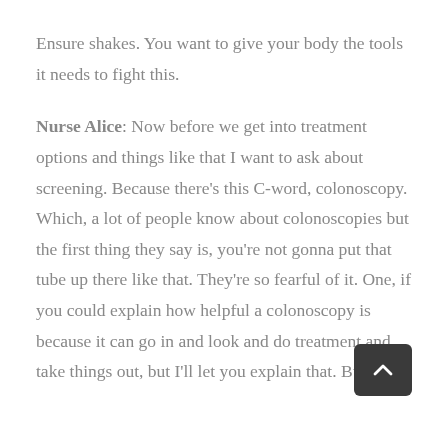Ensure shakes. You want to give your body the tools it needs to fight this.
Nurse Alice: Now before we get into treatment options and things like that I want to ask about screening. Because there's this C-word, colonoscopy. Which, a lot of people know about colonoscopies but the first thing they say is, you're not gonna put that tube up there like that. They're so fearful of it. One, if you could explain how helpful a colonoscopy is because it can go in and look and do treatment and take things out, but I'll let you explain that. But if I